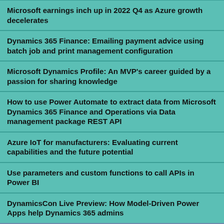Microsoft earnings inch up in 2022 Q4 as Azure growth decelerates
Dynamics 365 Finance: Emailing payment advice using batch job and print management configuration
Microsoft Dynamics Profile: An MVP's career guided by a passion for sharing knowledge
How to use Power Automate to extract data from Microsoft Dynamics 365 Finance and Operations via Data management package REST API
Azure IoT for manufacturers: Evaluating current capabilities and the future potential
Use parameters and custom functions to call APIs in Power BI
DynamicsCon Live Preview: How Model-Driven Power Apps help Dynamics 365 admins
We use cookies on this site to enhance your user experience. By clicking any link on this page you are giving your consent for us to set cookies.
OK, I agree | No, give me more info